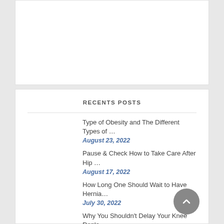RECENTS POSTS
Type of Obesity and The Different Types of …
August 23, 2022
Pause & Check How to Take Care After Hip …
August 17, 2022
How Long One Should Wait to Have Hernia…
July 30, 2022
Why You Shouldn't Delay Your Knee Repla…